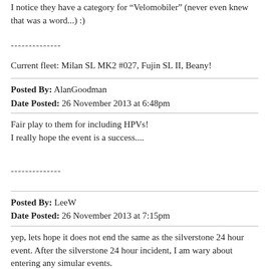I notice they have a category for "Velomobiler" (never even knew that was a word...) :)
--------------
Current fleet: Milan SL MK2 #027, Fujin SL II, Beany!
Posted By: AlanGoodman
Date Posted: 26 November 2013 at 6:48pm
Fair play to them for including HPVs!
I really hope the event is a success....
--------------
Posted By: LeeW
Date Posted: 26 November 2013 at 7:15pm
yep, lets hope it does not end the same as the silverstone 24 hour event. After the silverstone 24 hour incident, I am wary about entering any simular events.